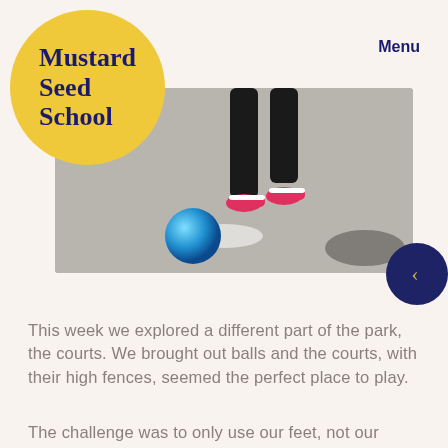Mustard Seed School
Menu
[Figure (photo): Child's legs in black pants and pink sneakers kicking a blue ball on a concrete court surface]
This week we explored a different part of the park, the courts. We brought out balls and the courts, with their high fences, seemed the perfect place to play.
The challenge was to only use our feet, not our hands, to play with the balls.